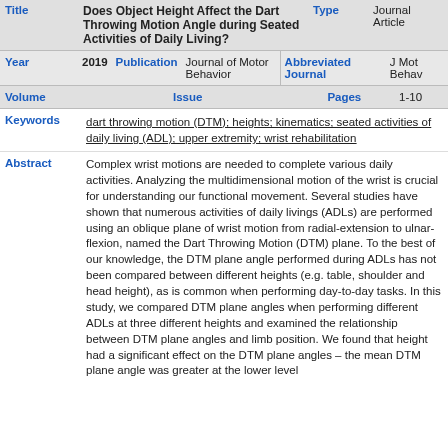| Title | Type |
| --- | --- |
| Does Object Height Affect the Dart Throwing Motion Angle during Seated Activities of Daily Living? | Journal Article |
| Year: 2019 | Publication: Journal of Motor Behavior | Abbreviated Journal: J Mot Behav |
| Volume | Issue | Pages: 1-10 |
Keywords: dart throwing motion (DTM); heights; kinematics; seated activities of daily living (ADL); upper extremity; wrist rehabilitation
Abstract: Complex wrist motions are needed to complete various daily activities. Analyzing the multidimensional motion of the wrist is crucial for understanding our functional movement. Several studies have shown that numerous activities of daily livings (ADLs) are performed using an oblique plane of wrist motion from radial-extension to ulnar-flexion, named the Dart Throwing Motion (DTM) plane. To the best of our knowledge, the DTM plane angle performed during ADLs has not been compared between different heights (e.g. table, shoulder and head height), as is common when performing day-to-day tasks. In this study, we compared DTM plane angles when performing different ADLs at three different heights and examined the relationship between DTM plane angles and limb position. We found that height had a significant effect on the DTM plane angles – the mean DTM plane angle was greater at the lower level